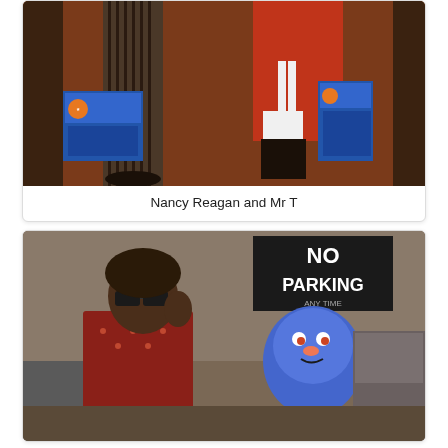[Figure (photo): Photo of Nancy Reagan and Mr T, showing lower bodies with striped pants and red outfit, holding blue boxed items]
Nancy Reagan and Mr T
[Figure (photo): Photo of a man with sunglasses (resembling Stevie Wonder) talking to Grover the Muppet from Sesame Street, with a NO PARKING sign in background]